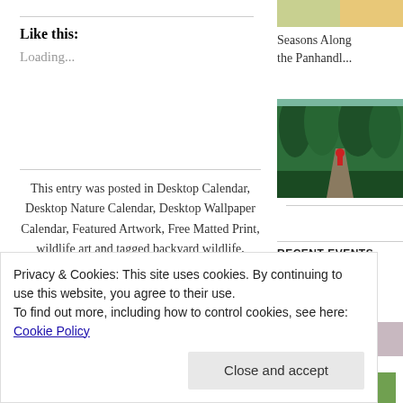Like this:
Loading...
This entry was posted in Desktop Calendar, Desktop Nature Calendar, Desktop Wallpaper Calendar, Featured Artwork, Free Matted Print, wildlife art and tagged backyard wildlife, DEER, desktop calendar, nature, nature desktop calendar, pastel, snow, whitetailed deer, winter
[Figure (photo): Thumbnail image at top right, partial view]
Seasons Along the Panhandl...
[Figure (photo): Forest path with figure in red, green trees]
RECENT EVENTS
Carnegie Farmers Mark...
[Figure (photo): Event photo thumbnail]
Privacy & Cookies: This site uses cookies. By continuing to use this website, you agree to their use.
To find out more, including how to control cookies, see here: Cookie Policy
Close and accept
DON'T SEE AN